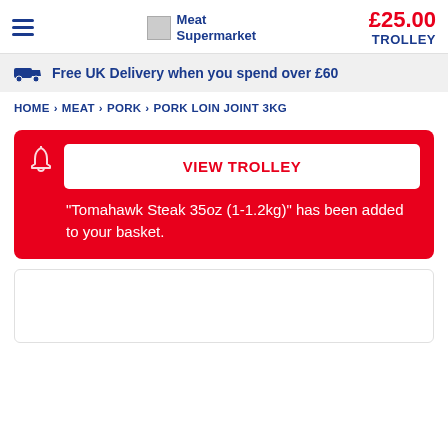Meat Supermarket | £25.00 TROLLEY
Free UK Delivery when you spend over £60
HOME > MEAT > PORK > PORK LOIN JOINT 3KG
VIEW TROLLEY
"Tomahawk Steak 35oz (1-1.2kg)" has been added to your basket.